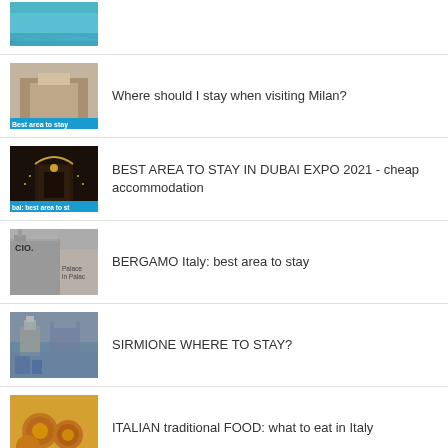[Figure (photo): Partial photo of a coastal/aqua blue water scene (top cropped)]
[Figure (photo): Photo of a Milan building with 'Best area to stay' label]
Where should I stay when visiting Milan?
[Figure (photo): Photo of Dubai Expo building lit up at night with 'bai: best area to st' label]
BEST AREA TO STAY IN DUBAI EXPO 2021 - cheap accommodation
[Figure (photo): Photo of Bergamo Italy street/building]
BERGAMO Italy: best area to stay
[Figure (photo): Photo of Sirmione waterfront/castle]
SIRMIONE WHERE TO STAY?
[Figure (photo): Photo of Italian traditional food - arancini/fried food]
ITALIAN traditional FOOD: what to eat in Italy